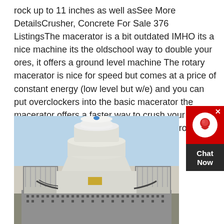rock up to 11 inches as well asSee More DetailsCrusher, Concrete For Sale 376 ListingsThe macerator is a bit outdated IMHO its a nice machine its the oldschool way to double your ores, it offers a ground level machine The rotary macerator is nice for speed but comes at a price of constant energy (low level but w/e) and you can put overclockers into the basic macerator the macerator offers a faster way to crush your o The pulverizer is slower but offers a lot morePro's of macer vs pulverizer? : feedthebeast
[Figure (photo): Photo of a large industrial crusher or concrete crushing machine, white in color, mounted on a steel frame/platform with railings, photographed from below against a light blue sky.]